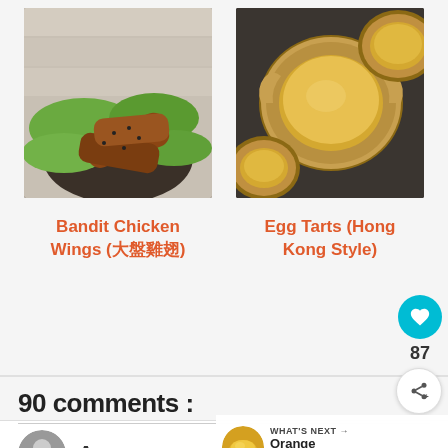[Figure (photo): Photo of Bandit Chicken Wings on a plate with green lettuce leaves]
[Figure (photo): Photo of Egg Tarts Hong Kong Style in metal tart tins with golden custard filling]
Bandit Chicken Wings (大盤雞翅)
Egg Tarts (Hong Kong Style)
90 comments :
87
WHAT'S NEXT → Orange Chiffon Cake
Anonymous